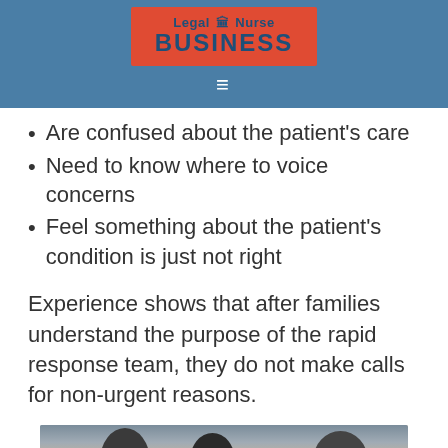Legal Nurse BUSINESS
Are confused about the patient's care
Need to know where to voice concerns
Feel something about the patient's condition is just not right
Experience shows that after families understand the purpose of the rapid response team, they do not make calls for non-urgent reasons.
[Figure (photo): Photo showing people in a medical/hospital setting, partially visible at bottom of page]